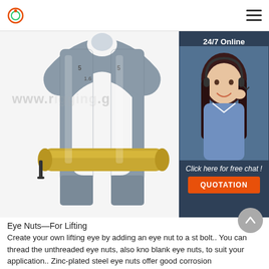Logo | Navigation menu
[Figure (photo): Close-up photo of a galvanized steel shackle with a brass pin, used for lifting applications. Watermark text partially visible: www.[domain].g]
[Figure (infographic): 24/7 Online chat box overlay with a customer service representative photo, text 'Click here for free chat!' and orange QUOTATION button]
Eye Nuts—For Lifting
Create your own lifting eye by adding an eye nut to a st bolt.. You can thread the unthreaded eye nuts, also kno blank eye nuts, to suit your application.. Zinc-plated steel eye nuts offer good corrosion resistance.. Galvanized steel eye nuts have a hot-dipped finish for more corrosion resistance than